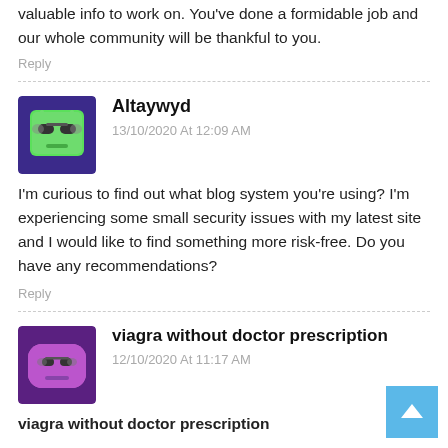valuable info to work on. You've done a formidable job and our whole community will be thankful to you.
Reply
Altaywyd
13/10/2020 At 12:09 AM
I'm curious to find out what blog system you're using? I'm experiencing some small security issues with my latest site and I would like to find something more risk-free. Do you have any recommendations?
Reply
viagra without doctor prescription
12/10/2020 At 11:17 AM
viagra without doctor prescription
WALCOME
Reply